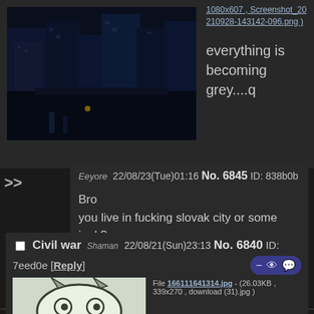[Figure (photo): Dark blue nighttime cityscape photo showing tall buildings and a street]
1080x607 , Screenshot_20210928-143142-096.png ) everything is becoming grey....q
>> Eeyore 22/08/23(Tue)01:16 No. 6845 ID: 838b0b
Bro
you live in fucking slovak city or some junk?
Civil war Shaman 22/08/21(Sun)23:13 No. 6840 ID: 7eed0e [Reply]
[Figure (illustration): Black and white cartoon/meme face illustration]
File 166111641314.jpg - (26.03KB , 339x270 , download (31).jpg )